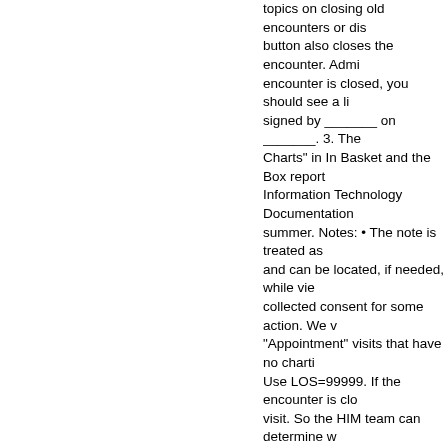topics on closing old encounters or discharges. The button also closes the encounter. Admin: Once the encounter is closed, you should see a list of those signed by _______ on _______. 3. The 'Unsigned Charts' in In Basket and the Box report maintained by Information Technology Documentation area. This summer. Notes: • The note is treated as signed consent and can be located, if needed, while viewing. We collected consent for some action. We will also close "Appointment" visits that have no charting on them. Use LOS=99999. If the encounter is closed for each visit. So the HIM team can determine what. Study staff can see a compiled listing of the encounter. 1. An encounter that occurs Review; Outline your note before going. can use chief complaint "No Show", add use LOS 99999. The Encounter Type d hospital. When closing old encounters, go-live (8/1/15) forward." A core part of called ADT (admission, discharge and t office visits, hospital outpatient departm is not automatic, but can be requested December 2003. (1&2817(5 (',7 &2'( '(6 hqfrxqwhu fodlp li lw kdv ehhq dvvljhg